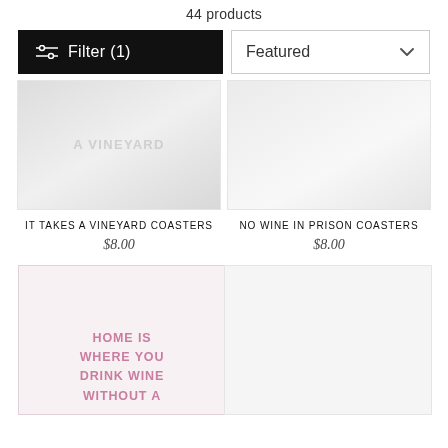44 products
Filter (1)
Featured
[Figure (photo): Product image for IT TAKES A VINEYARD COASTERS — faded text watermark style product image]
IT TAKES A VINEYARD COASTERS
$8.00
[Figure (photo): Product image for NO WINE IN PRISON COASTERS — light grey product image]
NO WINE IN PRISON COASTERS
$8.00
[Figure (photo): Product image showing pink text: HOME IS WHERE YOU DRINK WINE WITHOUT A... on light pink background]